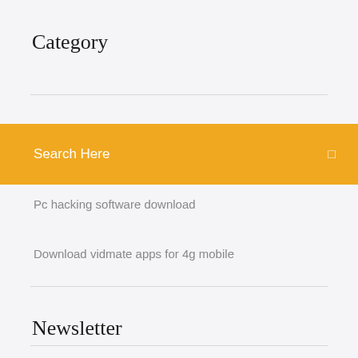Category
[Figure (screenshot): Yellow/orange search bar with placeholder text 'Search Here' and a search icon on the right]
Pc hacking software download
Download vidmate apps for 4g mobile
Newsletter